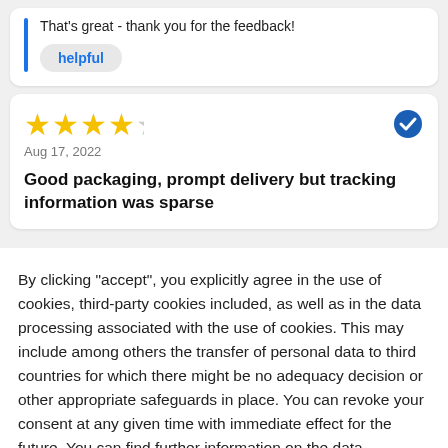That's great - thank you for the feedback!
helpful
[Figure (other): 4 out of 5 stars rating]
[Figure (other): Verified purchase badge (blue checkmark)]
Aug 17, 2022
Good packaging, prompt delivery but tracking information was sparse
By clicking "accept", you explicitly agree in the use of cookies, third-party cookies included, as well as in the data processing associated with the use of cookies. This may include among others the transfer of personal data to third countries for which there might be no adequacy decision or other appropriate safeguards in place. You can revoke your consent at any given time with immediate effect for the future. You can find further information on the data processing purposes, opt-out options, your rights, and the risks of data transfers to third countries here.
ACCEPT